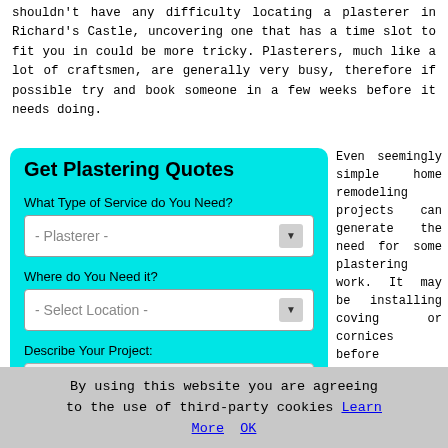shouldn't have any difficulty locating a plasterer in Richard's Castle, uncovering one that has a time slot to fit you in could be more tricky. Plasterers, much like a lot of craftsmen, are generally very busy, therefore if possible try and book someone in a few weeks before it needs doing.
[Figure (screenshot): Cyan form box titled 'Get Plastering Quotes' with dropdowns for service type (Plasterer) and location (Select Location), and a text area for project description.]
Even seemingly simple home remodeling projects can generate the need for some plastering work. It may be installing coving or cornices before decorating, skimming some dry lining, plastering
By using this website you are agreeing to the use of third-party cookies Learn More OK